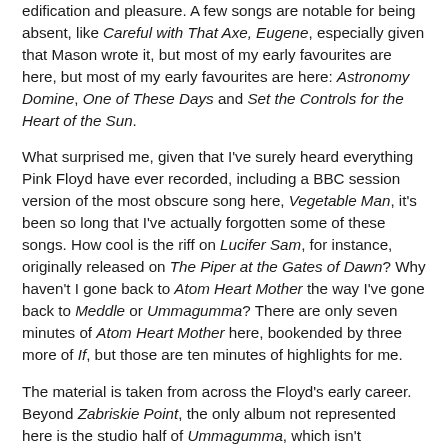edification and pleasure. A few songs are notable for being absent, like Careful with That Axe, Eugene, especially given that Mason wrote it, but most of my early favourites are here, but most of my early favourites are here: Astronomy Domine, One of These Days and Set the Controls for the Heart of the Sun.
What surprised me, given that I've surely heard everything Pink Floyd have ever recorded, including a BBC session version of the most obscure song here, Vegetable Man, it's been so long that I've actually forgotten some of these songs. How cool is the riff on Lucifer Sam, for instance, originally released on The Piper at the Gates of Dawn? Why haven't I gone back to Atom Heart Mother the way I've gone back to Meddle or Ummagumma? There are only seven minutes of Atom Heart Mother here, bookended by three more of If, but those are ten minutes of highlights for me.
The material is taken from across the Floyd's early career. Beyond Zabriskie Point, the only album not represented here is the studio half of Ummagumma, which isn't surprising. There are three non-album singles, four songs from each of The Piper at the Gates of Dawn and A Saucerful of Secrets